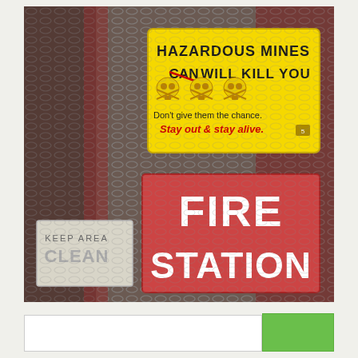[Figure (photo): Photograph of a metal diamond-mesh fence gate with three signs attached: a yellow warning sign reading 'HAZARDOUS MINES CAN WILL KILL YOU' with skull-and-crossbones images and text 'Don't give them the chance. Stay out & stay alive.'; a red sign reading 'FIRE STATION'; and a faded white sign at lower left reading 'KEEP AREA CLEAN'.]
Bottom navigation bar with green button